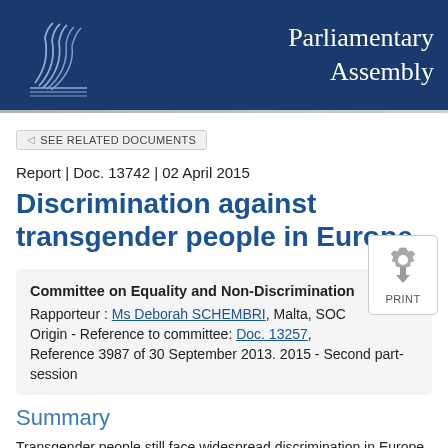Parliamentary Assembly
SEE RELATED DOCUMENTS
Report | Doc. 13742 | 02 April 2015
Discrimination against transgender people in Europe
Committee on Equality and Non-Discrimination
Rapporteur : Ms Deborah SCHEMBRI, Malta, SOC
Origin - Reference to committee: Doc. 13257, Reference 3987 of 30 September 2013. 2015 - Second part-session
Summary
Transgender people still face widespread discrimination in Europe, for example in gaining access to work, housing